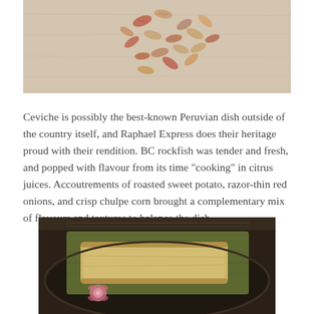[Figure (photo): Close-up photo of dried chulpe corn kernels scattered on a light surface, showing various shades of beige, brown, and red]
Ceviche is possibly the best-known Peruvian dish outside of the country itself, and Raphael Express does their heritage proud with their rendition. BC rockfish was tender and fresh, and popped with flavour from its time “cooking” in citrus juices. Accoutrements of roasted sweet potato, razor-thin red onions, and crisp chulpe corn brought a complementary mix of flavours and textures to balance the dish.
[Figure (photo): Photo of a tamale or wrapped food item on a dark plate, showing a rectangular masa or dough package partially unwrapped with banana leaf, with a pink flower garnish]